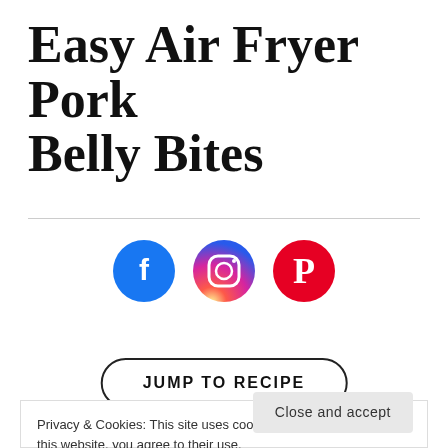Easy Air Fryer Pork Belly Bites
[Figure (other): Three social media icon circles: Facebook (blue), Instagram (pink/magenta gradient), Pinterest (red)]
JUMP TO RECIPE
Privacy & Cookies: This site uses cookies. By continuing to use this website, you agree to their use.
To find out more, including how to control cookies, see here: Cookie Policy
Close and accept